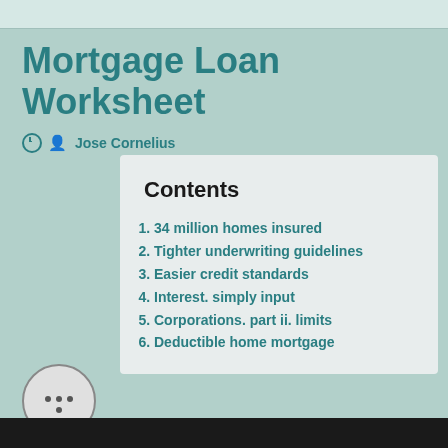Mortgage Loan Worksheet
Jose Cornelius
Contents
34 million homes insured
Tighter underwriting guidelines
Easier credit standards
Interest. simply input
Corporations. part ii. limits
Deductible home mortgage